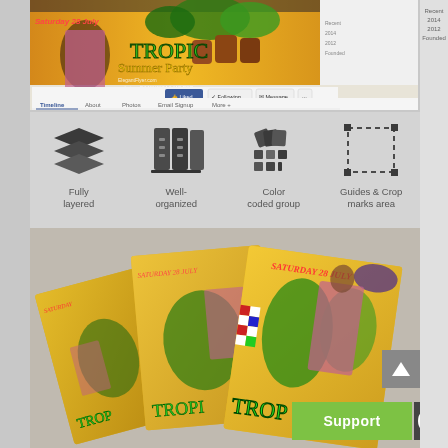[Figure (screenshot): Facebook page screenshot showing a Tropical Summer Party event cover with golden tropical theme, woman in bikini, 'Saturday 28 July' text, DJ Maxxim & MC Rob mention, ElegantFlyer.com watermark, Timeline/About/Photos navigation tabs]
[Figure (infographic): Four feature icons in a row on grey background: layers icon (Fully layered), binders icon (Well-organized), color swatches icon (Color coded group), dashed rectangle icon (Guides & Crop marks area)]
[Figure (photo): Multiple Tropical Summer Party flyer cards fanned out showing Saturday 28 July tropical themed design with woman in bikini, palm trees, colorful decorations on yellow background]
Support